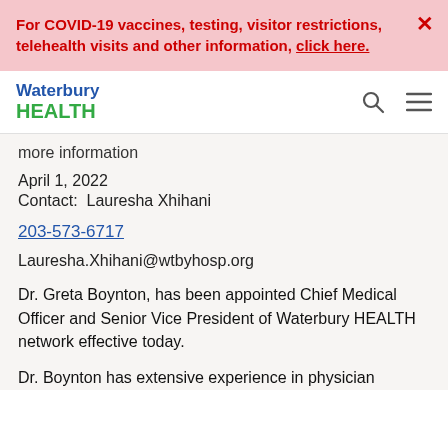For COVID-19 vaccines, testing, visitor restrictions, telehealth visits and other information, click here.
[Figure (logo): Waterbury HEALTH logo with blue 'Waterbury' and green 'HEALTH' text, with search and menu icons]
more information
April 1, 2022
Contact:  Lauresha Xhihani
203-573-6717
Lauresha.Xhihani@wtbyhosp.org
Dr. Greta Boynton, has been appointed Chief Medical Officer and Senior Vice President of Waterbury HEALTH network effective today.
Dr. Boynton has extensive experience in physician